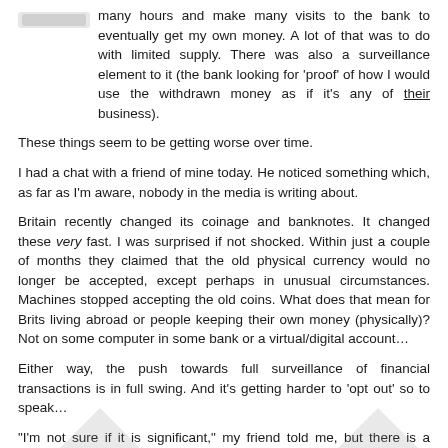many hours and make many visits to the bank to eventually get my own money. A lot of that was to do with limited supply. There was also a surveillance element to it (the bank looking for 'proof' of how I would use the withdrawn money as if it's any of their business).
These things seem to be getting worse over time.
I had a chat with a friend of mine today. He noticed something which, as far as I'm aware, nobody in the media is writing about.
Britain recently changed its coinage and banknotes. It changed these very fast. I was surprised if not shocked. Within just a couple of months they claimed that the old physical currency would no longer be accepted, except perhaps in unusual circumstances. Machines stopped accepting the old coins. What does that mean for Brits living abroad or people keeping their own money (physically)? Not on some computer in some bank or a virtual/digital account…
Either way, the push towards full surveillance of financial transactions is in full swing. And it's getting harder to 'opt out' so to speak…
"I'm not sure if it is significant," my friend told me, but there is a major cash shortage in Sweden since they replaced all the coins and bills last year." There is this report about it (automated translation from Swedish).
"This second link shows that there are more than 3 orders of magnitude fewer medium-sized bills in circulation," my friend continued.
So they may be making wrong assumptions about demand for cash, or rather making a self-fulfilling prophecy about it.
"It looks like they have aimed at forcing the cashless issue through deliberate hardship," my friend bemoaned/ranted over this. "And, yes, there are obvious privacy implications among many other problems."
"Has someone out there written an article about this in English," I asked him. "If not, maybe we should."
And hence the point of this post. I read a lot of articles every day, almost all day